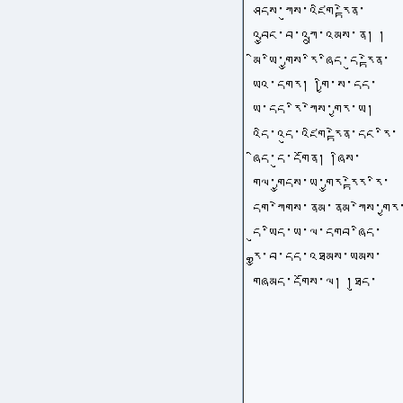Tibetan script text in right column panel